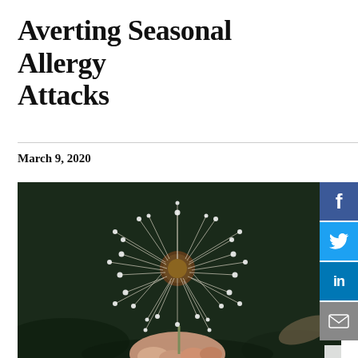Averting Seasonal Allergy Attacks
March 9, 2020
[Figure (photo): Close-up photograph of a hand holding a dandelion seed head (dandelion clock) against a dark green background. The white fluffy seeds are clearly visible spreading outward from the center.]